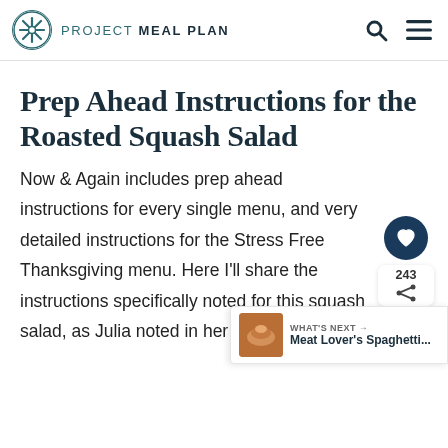PROJECT meal plan
Prep Ahead Instructions for the Roasted Squash Salad
Now & Again includes prep ahead instructions for every single menu, and very detailed instructions for the Stress Free Thanksgiving menu. Here I'll share the instructions specifically noted for this squash salad, as Julia noted in her book.